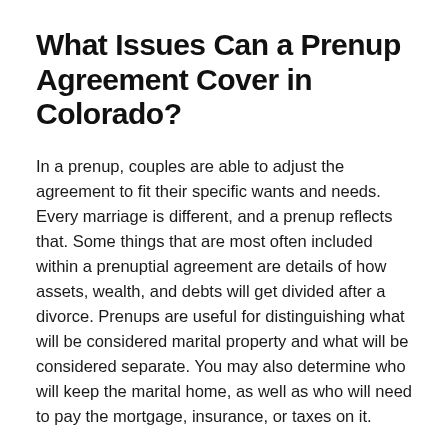What Issues Can a Prenup Agreement Cover in Colorado?
In a prenup, couples are able to adjust the agreement to fit their specific wants and needs. Every marriage is different, and a prenup reflects that. Some things that are most often included within a prenuptial agreement are details of how assets, wealth, and debts will get divided after a divorce. Prenups are useful for distinguishing what will be considered marital property and what will be considered separate. You may also determine who will keep the marital home, as well as who will need to pay the mortgage, insurance, or taxes on it.
Another thing you might want to consider including in your prenup is how retirement plans, student loans,